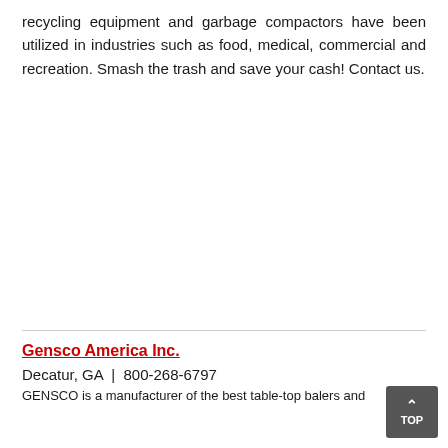recycling equipment and garbage compactors have been utilized in industries such as food, medical, commercial and recreation. Smash the trash and save your cash! Contact us.
Gensco America Inc.
Decatur, GA | 800-268-6797
GENSCO is a manufacturer of the best table-top balers and...